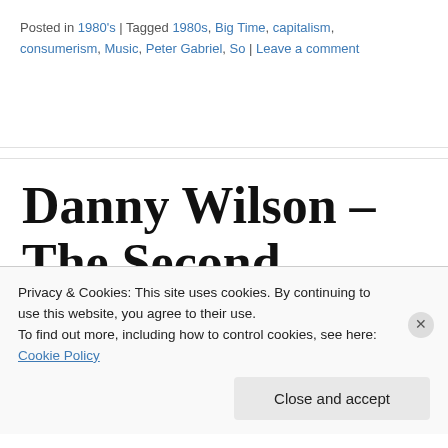Posted in 1980's | Tagged 1980s, Big Time, capitalism, consumerism, Music, Peter Gabriel, So | Leave a comment
Danny Wilson – The Second Summer of Love (1989)
Privacy & Cookies: This site uses cookies. By continuing to use this website, you agree to their use.
To find out more, including how to control cookies, see here: Cookie Policy